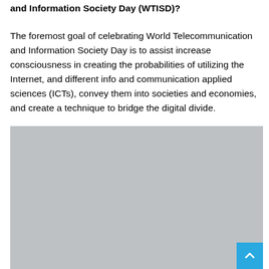and Information Society Day (WTISD)?
The foremost goal of celebrating World Telecommunication and Information Society Day is to assist increase consciousness in creating the probabilities of utilizing the Internet, and different info and communication applied sciences (ICTs), convey them into societies and economies, and create a technique to bridge the digital divide.
[Figure (photo): A large gray placeholder image block occupying the lower portion of the page, with a cyan/blue scroll-to-top button in the bottom-right corner.]